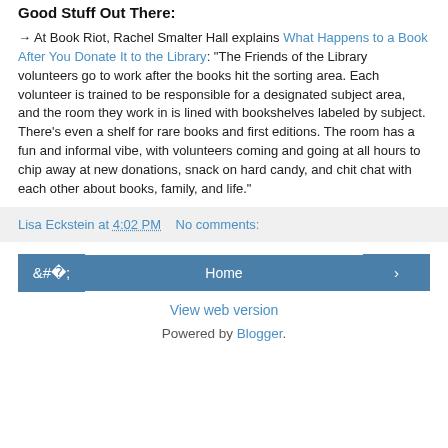Good Stuff Out There:
→ At Book Riot, Rachel Smalter Hall explains What Happens to a Book After You Donate It to the Library: "The Friends of the Library volunteers go to work after the books hit the sorting area. Each volunteer is trained to be responsible for a designated subject area, and the room they work in is lined with bookshelves labeled by subject. There's even a shelf for rare books and first editions. The room has a fun and informal vibe, with volunteers coming and going at all hours to chip away at new donations, snack on hard candy, and chit chat with each other about books, family, and life."
Lisa Eckstein at 4:02 PM   No comments:
Home
View web version
Powered by Blogger.